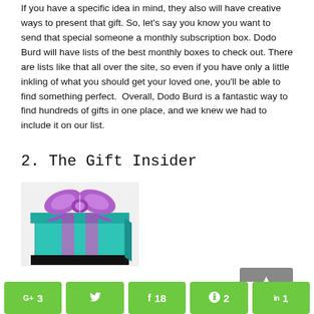If you have a specific idea in mind, they also will have creative ways to present that gift. So, let's say you know you want to send that special someone a monthly subscription box. Dodo Burd will have lists of the best monthly boxes to check out. There are lists like that all over the site, so even if you have only a little inkling of what you should get your loved one, you'll be able to find something perfect. Overall, Dodo Burd is a fantastic way to find hundreds of gifts in one place, and we knew we had to include it on our list.
2. The Gift Insider
[Figure (illustration): A cartoon-style gift box with a teal/turquoise box body with purple ribbon stripes and a large purple bow on top, with a black base strip.]
[Figure (other): Gray button with upward arrow icon]
G+ 3  [Twitter] [bird icon]  f 18  [Pinterest] 2  in 1